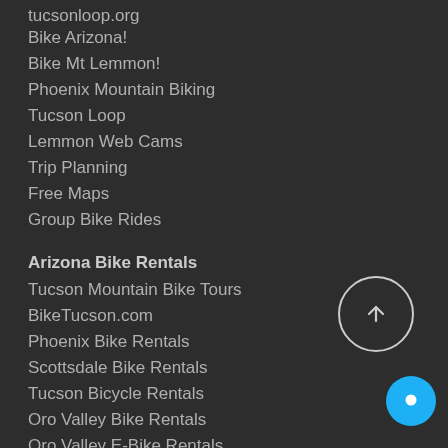tucsonloop.org
Bike Arizona!
Bike Mt Lemmon!
Phoenix Mountain Biking
Tucson Loop
Lemmon Web Cams
Trip Planning
Free Maps
Group Bike Rides
Arizona Bike Rentals
Tucson Mountain Bike Tours
BikeTucson.com
Phoenix Bike Rentals
Scottsdale Bike Rentals
Tucson Bicycle Rentals
Oro Valley Bike Rentals
Oro Valley E-Bike Rentals
BikeTucson E-Bike Rentals